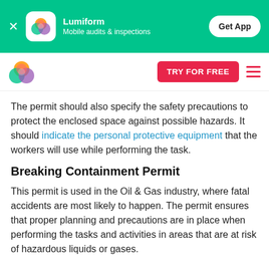[Figure (logo): Lumiform app banner with green background, colorful app icon, app name and tagline, and Get App button]
[Figure (logo): Lumiform navigation bar with colorful logo, TRY FOR FREE button, and hamburger menu]
The permit should also specify the safety precautions to protect the enclosed space against possible hazards. It should indicate the personal protective equipment that the workers will use while performing the task.
Breaking Containment Permit
This permit is used in the Oil & Gas industry, where fatal accidents are most likely to happen. The permit ensures that proper planning and precautions are in place when performing the tasks and activities in areas that are at risk of hazardous liquids or gases.